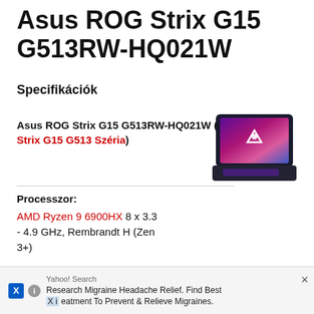Asus ROG Strix G15 G513RW-HQ021W
Specifikációk
Asus ROG Strix G15 G513RW-HQ021W (ROG Strix G15 G513 Széria)
[Figure (photo): Asus ROG Strix G15 laptop product photo showing the open laptop from the front-right angle with RGB lighting visible on the screen lid]
Processzor:
AMD Ryzen 9 6900HX 8 x 3.3 - 4.9 GHz, Rembrandt H (Zen 3+)
Grafikus adapter:
Yahoo! Search
Research Migraine Headache Relief. Find Best Treatment To Prevent & Relieve Migraines.